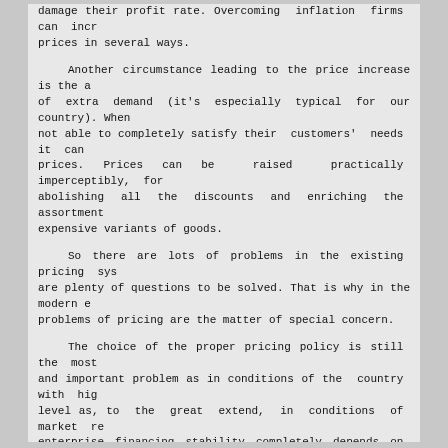damage their profit rate. Overcoming inflation firms can increase prices in several ways.

Another circumstance leading to the price increase is the absence of extra demand (it's especially typical for our country). When firms are not able to completely satisfy their customers' needs it can raise prices. Prices can be raised practically imperceptibly, for example, abolishing all the discounts and enriching the assortment with more expensive variants of goods.

So there are lots of problems in the existing pricing system, there are plenty of questions to be solved. That is why in the modern economy problems of pricing are the matter of special concern.

The choice of the proper pricing policy is still the most complex and important problem as in conditions of the country with high inflation level as, to the great extend, in conditions of market relations when enterprise financing stability completely depends on solving these problems as well as the output and profit rate and ability of investments at expense of own resources.

The proper pricing policy is extremely important for national economy in general because the rational price structure and level contributes to economic stability.

In the market economy all attention is for the first turn paid to consumer that should be the main principal of pricing policy which in turn should be considered as a part of the overall planning of the enterprise activity process.

The constant appearance of new goods and services in the market